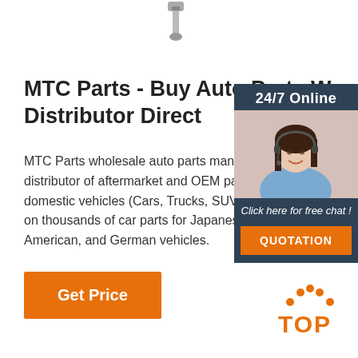[Figure (photo): Auto part (appears to be a metal component/bolt) shown at top center]
MTC Parts - Buy Auto Parts W... Distributor Direct
MTC Parts wholesale auto parts manufacturer distributor of aftermarket and OEM parts for domestic vehicles (Cars, Trucks, SUV's). Save on thousands of car parts for Japanese, Korean, American, and German vehicles.
[Figure (photo): 24/7 Online chat widget with a smiling female customer service representative wearing a headset, with 'Click here for free chat!' text and an orange QUOTATION button]
Get Price
[Figure (logo): Orange and dark 'TOP' logo with dots arranged in an arc above the text]